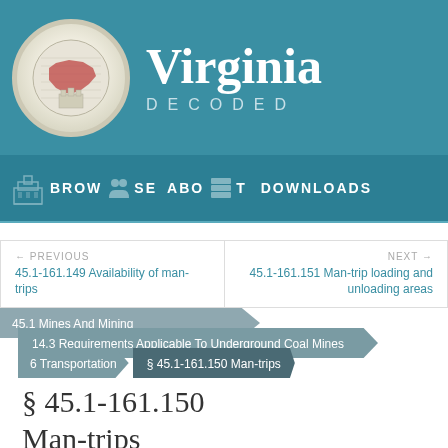[Figure (logo): Virginia Decoded website header with Virginia state seal and teal background]
Virginia DECODED
BROWSE   ABOUT   DOWNLOADS
← PREVIOUS
45.1-161.149 Availability of man-trips
NEXT →
45.1-161.151 Man-trip loading and unloading areas
45.1 Mines And Mining
14.3 Requirements Applicable To Underground Coal Mines
6 Transportation   § 45.1-161.150 Man-trips
§ 45.1-161.150
Man-trips